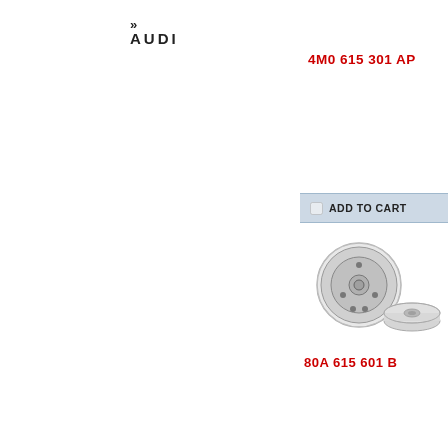[Figure (logo): Audi logo with four rings symbol above AUDI text]
4M0 615 301 AP
ADD TO CART
[Figure (photo): Two brake disc rotors shown from above and from side angle]
80A 615 601 B